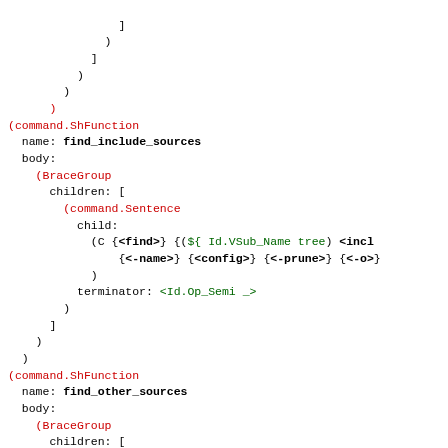Code snippet showing ShFunction AST nodes for find_include_sources and find_other_sources